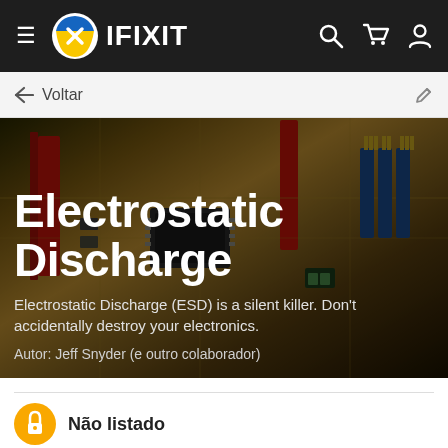IFIXIT
← Voltar
[Figure (photo): Close-up photo of a printed circuit board (PCB) with electronic components, connectors, and chips — used as hero background image for the Electrostatic Discharge article on iFixit]
Electrostatic Discharge
Electrostatic Discharge (ESD) is a silent killer. Don't accidentally destroy your electronics.
Autor: Jeff Snyder (e outro colaborador)
Não listado